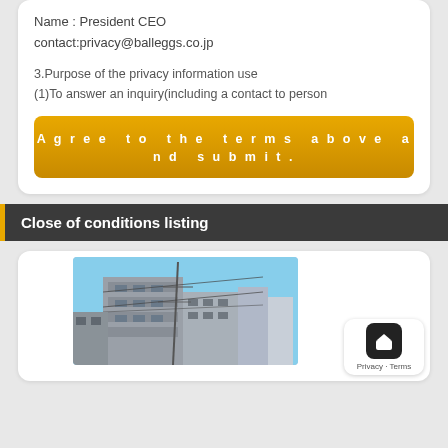Name : President CEO
contact:privacy@balleggs.co.jp
3.Purpose of the privacy information use
(1)To answer an inquiry(including a contact to person
Agree to the terms above and submit.
Close of conditions listing
[Figure (photo): Exterior photo of a concrete multi-story building under blue sky with utility poles and wires in an urban Japanese setting.]